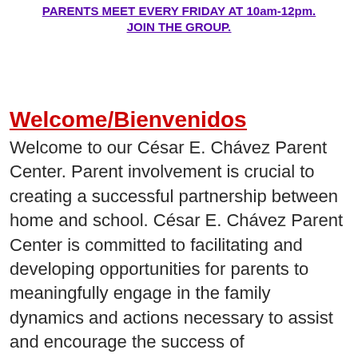PARENTS MEET EVERY FRIDAY AT 10am-12pm. JOIN THE GROUP.
Welcome/Bienvenidos
Welcome to our César E. Chávez Parent Center. Parent involvement is crucial to creating a successful partnership between home and school. César E. Chávez Parent Center is committed to facilitating and developing opportunities for parents to meaningfully engage in the family dynamics and actions necessary to assist and encourage the success of